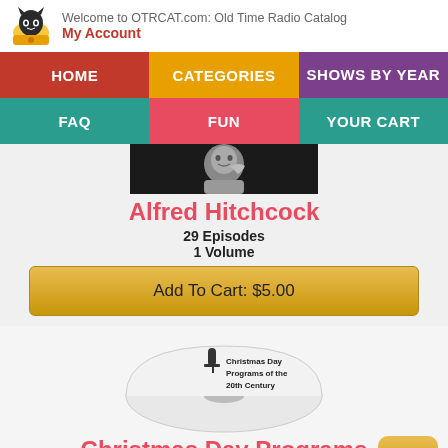Welcome to OTRCAT.com: Old Time Radio Catalog
My Account
[Figure (screenshot): Navigation menu with HOME, CATEGORIES, SHOWS BY YEAR, FAQ, FUN, YOUR CART buttons]
[Figure (photo): Black and white photo of Alfred Hitchcock]
Alfred Hitchcock
29 Episodes
1 Volume
Add To Cart: $5.00
[Figure (illustration): Disc image for Christmas Day Programs of the 20th Century]
Christmas Day Programs
36 Episodes
1 Volume